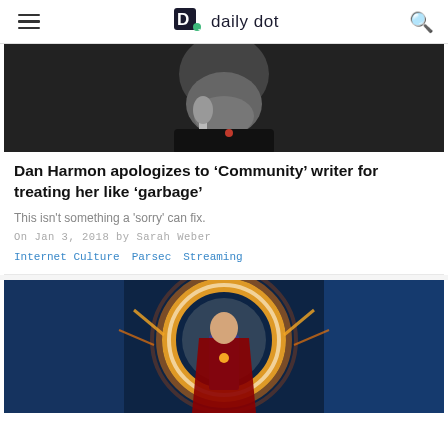daily dot
[Figure (photo): Man with gray beard speaking into a microphone, dark background]
Dan Harmon apologizes to ‘Community’ writer for treating her like ‘garbage’
This isn't something a 'sorry' can fix.
On Jan 3, 2018 by Sarah Weber
Internet Culture  Parsec  Streaming
[Figure (photo): Doctor Strange movie promotional image showing the character surrounded by magical fire and energy circle]